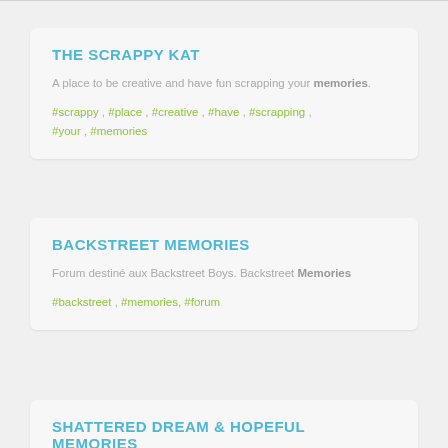THE SCRAPPY KAT
A place to be creative and have fun scrapping your memories.
#scrappy , #place , #creative , #have , #scrapping , #your , #memories
BACKSTREET MEMORIES
Forum destiné aux Backstreet Boys. Backstreet Memories
#backstreet , #memories, #forum
SHATTERED DREAM & HOPEFUL MEMORIES